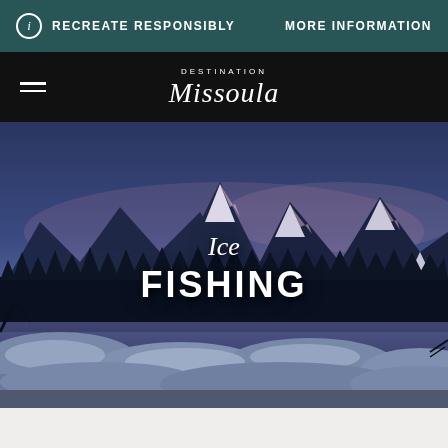RECREATE RESPONSIBLY
MORE INFORMATION
[Figure (logo): Destination Missoula logo with hamburger menu icon on black navigation bar]
[Figure (photo): Winter mountain landscape photo at dusk showing snow-capped peaks, dark conifer forest, and a frozen lake or river in the foreground with snow mounds]
Ice FISHING